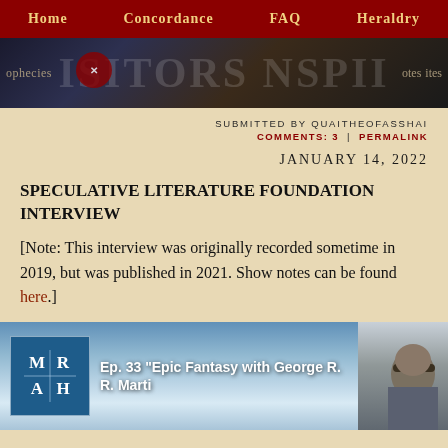Home  Concordance  FAQ  Heraldry
[Figure (screenshot): Website banner with overlaid navigation links: Prophecies, Visitors, Inspiration, Notes, Sites]
SUBMITTED BY QUAITHEOFASSHAI
COMMENTS: 3 | PERMALINK
JANUARY 14, 2022
SPECULATIVE LITERATURE FOUNDATION INTERVIEW
[Note: This interview was originally recorded sometime in 2019, but was published in 2021. Show notes can be found here.]
[Figure (screenshot): Video thumbnail for Ep. 33 "Epic Fantasy with George R. R. Marti" with MRAH logo and photo of a man in a cap]